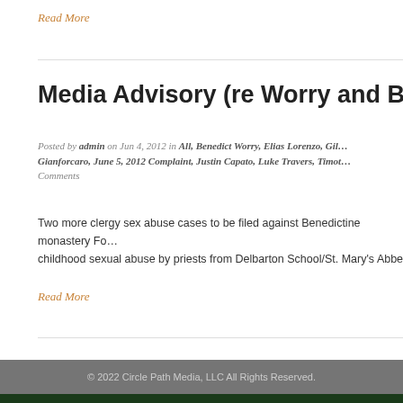Read More
Media Advisory (re Worry and Bre…
Posted by admin on Jun 4, 2012 in All, Benedict Worry, Elias Lorenzo, Gil… Gianforcaro, June 5, 2012 Complaint, Justin Capato, Luke Travers, Timot… Comments
Two more clergy sex abuse cases to be filed against Benedictine monastery Fo… childhood sexual abuse by priests from Delbarton School/St. Mary's Abbey
Read More
© 2022 Circle Path Media, LLC All Rights Reserved.